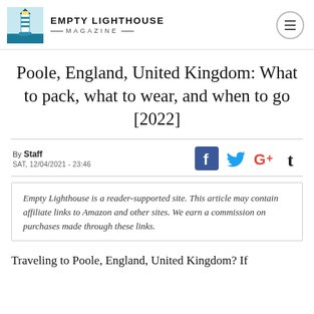EMPTY LIGHTHOUSE MAGAZINE
Poole, England, United Kingdom: What to pack, what to wear, and when to go [2022]
By Staff
SAT, 12/04/2021 - 23:46
Empty Lighthouse is a reader-supported site. This article may contain affiliate links to Amazon and other sites. We earn a commission on purchases made through these links.
Traveling to Poole, England, United Kingdom? If